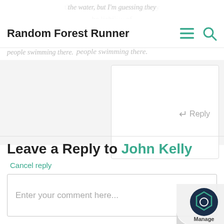Random Forest Runner
the water, but I'm guessing they he liability of people swimming there.
↵ Reply
Leave a Reply to John Kelly
Cancel reply
Enter your comment here...
This site uses Akismet to reduce spam. Learn how your comment data is processed.
[Figure (logo): Manage badge icon - dark blue circular logo with hexagon design and 'Manage' text]